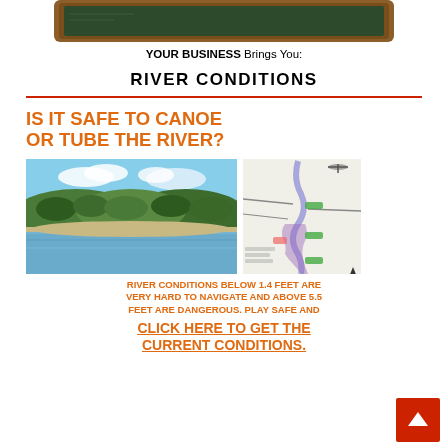[Figure (illustration): Chalkboard/plaque graphic at top of page with wooden frame and dark green board]
YOUR BUSINESS Brings You:
RIVER CONDITIONS
[Figure (infographic): Orange bold text 'IS IT SAFE TO CANOE OR TUBE THE RIVER?' above two images: a river photo on the left and a river map on the right. Below images: orange text 'RIVER CONDITIONS BELOW 1.4 FEET ARE VERY HARD TO NAVIGATE AND ABOVE 5.5 FEET ARE DANGEROUS. PLAY SAFE AND' followed by underlined 'CLICK HERE TO GET THE CURRENT CONDITIONS.']